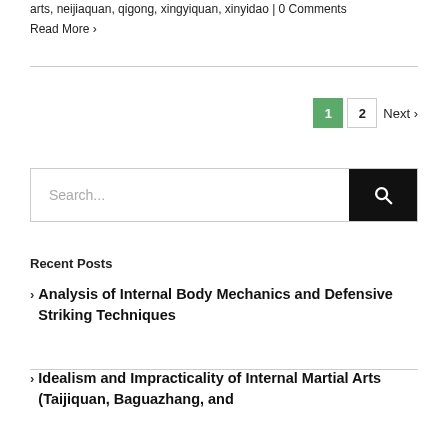arts, neijiaquan, qigong, xingyiquan, xinyidao | 0 Comments
Read More >
1  2  Next >
[Figure (other): Search input box with black search button icon]
Recent Posts
Analysis of Internal Body Mechanics and Defensive Striking Techniques
Idealism and Impracticality of Internal Martial Arts (Taijiquan, Baguazhang, and ...